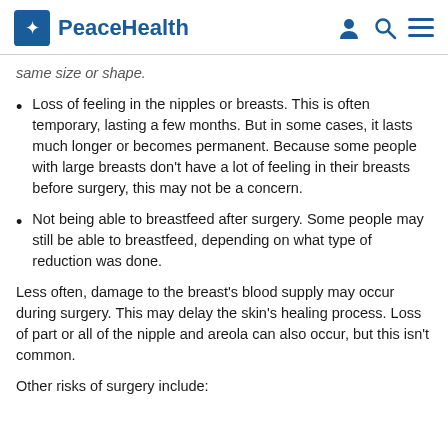PeaceHealth
same size or shape.
Loss of feeling in the nipples or breasts. This is often temporary, lasting a few months. But in some cases, it lasts much longer or becomes permanent. Because some people with large breasts don't have a lot of feeling in their breasts before surgery, this may not be a concern.
Not being able to breastfeed after surgery. Some people may still be able to breastfeed, depending on what type of reduction was done.
Less often, damage to the breast's blood supply may occur during surgery. This may delay the skin's healing process. Loss of part or all of the nipple and areola can also occur, but this isn't common.
Other risks of surgery include: